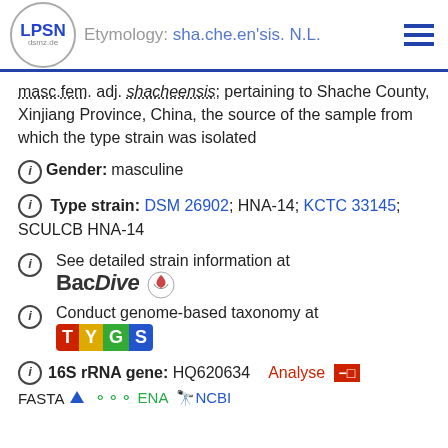LPSN dsmz.de | Etymology: sha.che.en'sis. N.L.
masc./fem. adj. shacheensis, pertaining to Shache County, Xinjiang Province, China, the source of the sample from which the type strain was isolated
Gender: masculine
Type strain: DSM 26902; HNA-14; KCTC 33145; SCULCB HNA-14
See detailed strain information at BacDive
Conduct genome-based taxonomy at TYGS
16S rRNA gene: HQ620634  Analyse